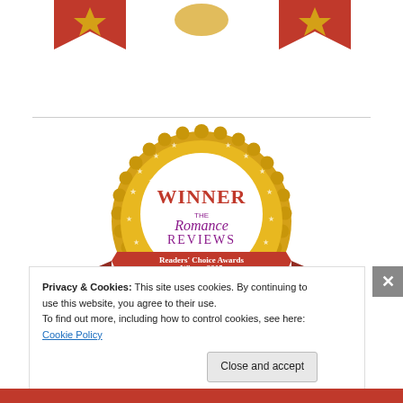[Figure (logo): Top decorative banner with red and gold ribbon/award elements partially cropped at top of page]
[Figure (logo): Gold circular award seal for The Romance Reviews, Readers' Choice Awards Winter 2015, labeled WINNER with a red ribbon banner]
Privacy & Cookies: This site uses cookies. By continuing to use this website, you agree to their use.
To find out more, including how to control cookies, see here: Cookie Policy
Close and accept